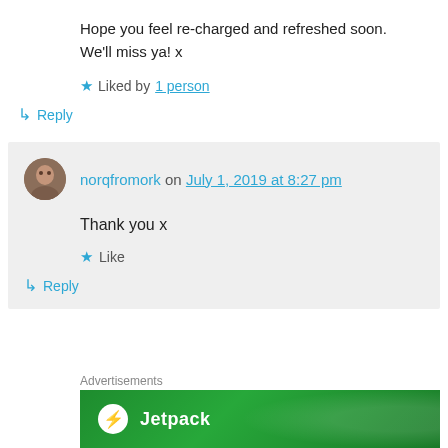Hope you feel re-charged and refreshed soon.
We'll miss ya! x
★ Liked by 1 person
↳ Reply
norqfromork on July 1, 2019 at 8:27 pm
Thank you x
★ Like
↳ Reply
Advertisements
[Figure (logo): Jetpack advertisement banner with green background, white circle with lightning bolt icon, and Jetpack text in white]